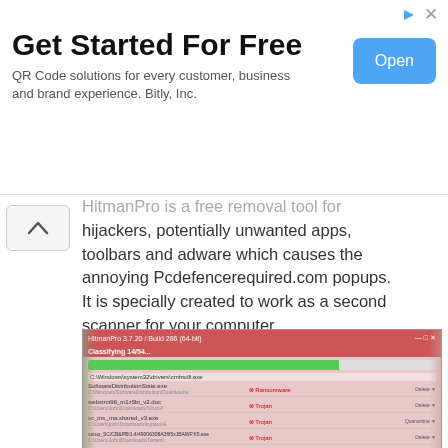[Figure (screenshot): Advertisement banner: 'Get Started For Free' - QR Code solutions for every customer, business and brand experience. Bitly, Inc. with an 'Open' button]
HitmanPro is a free removal tool for hijackers, potentially unwanted apps, toolbars and adware which causes the annoying Pcdefencerequired.com popups. It is specially created to work as a second scanner for your computer.
[Figure (screenshot): Screenshot of HitmanPro application scanning and classifying threats including Ransomware, Trojan, and Malware items in a list with pink/red interface]
1. Visit the page linked below to